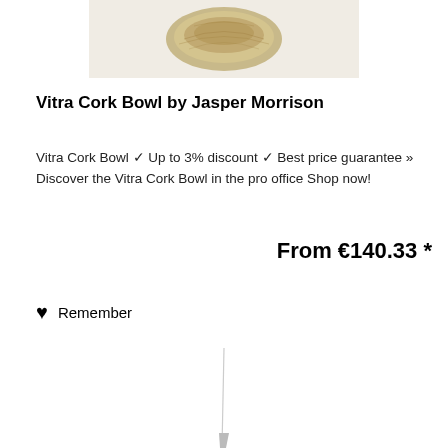[Figure (photo): Top portion of a Vitra Cork Bowl product photo showing the bowl from above, with a beige/cork textured surface]
Vitra Cork Bowl by Jasper Morrison
Vitra Cork Bowl ✓ Up to 3% discount ✓ Best price guarantee » Discover the Vitra Cork Bowl in the pro office Shop now!
From €140.33 *
♥  Remember
[Figure (photo): Bottom portion of another product photo showing a tall thin object (possibly a lamp or vase) from below, partially visible]